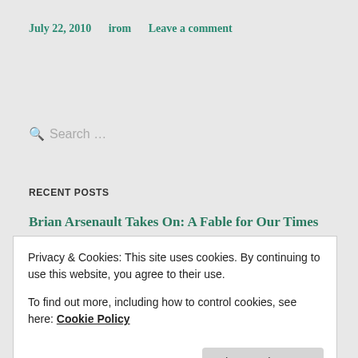July 22, 2010   irom   Leave a comment
Search ...
RECENT POSTS
Brian Arsenault Takes On: A Fable for Our Times
Privacy & Cookies: This site uses cookies. By continuing to use this website, you agree to their use.
To find out more, including how to control cookies, see here: Cookie Policy
Close and accept
Advertisements